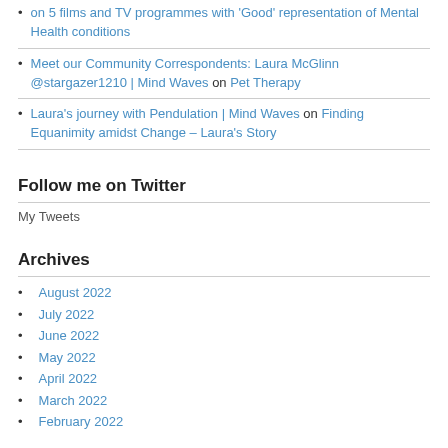on 5 films and TV programmes with 'Good' representation of Mental Health conditions
Meet our Community Correspondents: Laura McGlinn @stargazer1210 | Mind Waves on Pet Therapy
Laura's journey with Pendulation | Mind Waves on Finding Equanimity amidst Change – Laura's Story
Follow me on Twitter
My Tweets
Archives
August 2022
July 2022
June 2022
May 2022
April 2022
March 2022
February 2022